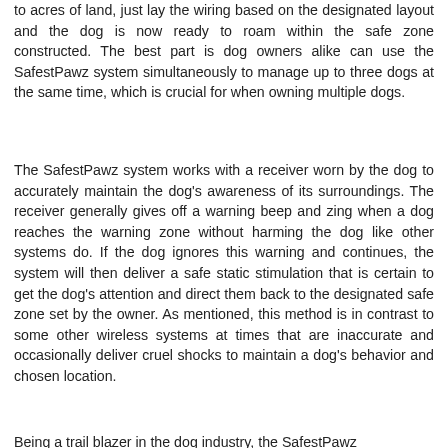to acres of land, just lay the wiring based on the designated layout and the dog is now ready to roam within the safe zone constructed. The best part is dog owners alike can use the SafestPawz system simultaneously to manage up to three dogs at the same time, which is crucial for when owning multiple dogs.
The SafestPawz system works with a receiver worn by the dog to accurately maintain the dog's awareness of its surroundings. The receiver generally gives off a warning beep and zing when a dog reaches the warning zone without harming the dog like other systems do. If the dog ignores this warning and continues, the system will then deliver a safe static stimulation that is certain to get the dog's attention and direct them back to the designated safe zone set by the owner. As mentioned, this method is in contrast to some other wireless systems at times that are inaccurate and occasionally deliver cruel shocks to maintain a dog's behavior and chosen location.
Being a trail blazer in the dog industry, the SafestPawz...